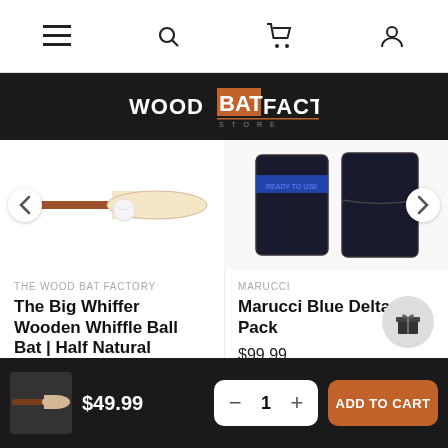Navigation bar with menu, search, cart, and account icons
[Figure (logo): Wood Bat Factory logo on dark background]
[Figure (photo): Wooden whiffle ball bat, half natural wood color with brown handle]
THE WOOD BAT FACTORY
The Big Whiffer Wooden Whiffle Ball Bat | Half Natural
$42.00
[Figure (photo): Marucci Blue Delta Bat Pack, black bag shown from two angles]
MARUCCI
Marucci Blue Delta Bat Pack
$99.99
$49.99  −  1  +  ADD TO CART